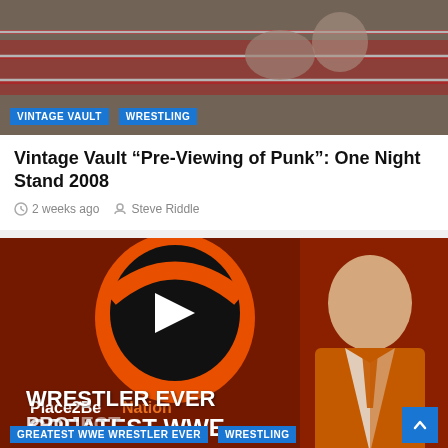[Figure (photo): Wrestling ring photo with blue tags overlay: VINTAGE VAULT and WRESTLING]
Vintage Vault “Pre-Viewing of Punk”: One Night Stand 2008
2 weeks ago   Steve Riddle
[Figure (photo): Place2Be Nation Greatest WWE Wrestler Ever Project promotional image with man in orange blazer and P2B logo]
GWWE Revised: December 2010 and 2010 Recap.